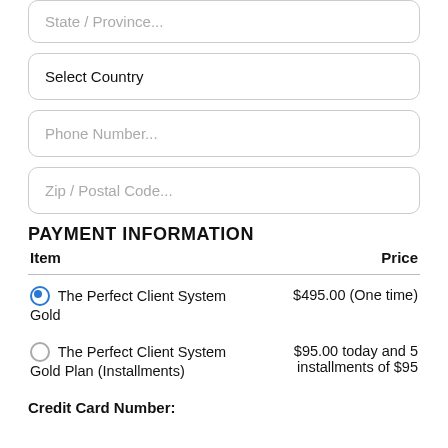State / Province...
Select Country
Phone Number...
Zip / Postal Code...
PAYMENT INFORMATION
| Item | Price |
| --- | --- |
| ⦿ The Perfect Client System Gold | $495.00 (One time) |
| ○ The Perfect Client System Gold Plan (Installments) | $95.00 today and 5 installments of $95 |
Credit Card Number: